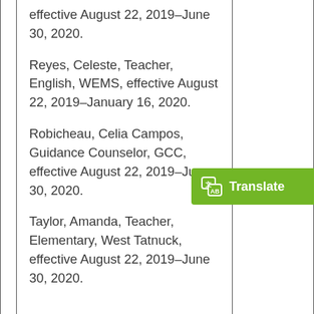effective August 22, 2019–June 30, 2020.
Reyes, Celeste, Teacher, English, WEMS, effective August 22, 2019–January 16, 2020.
Robicheau, Celia Campos, Guidance Counselor, GCC, effective August 22, 2019–June 30, 2020.
Taylor, Amanda, Teacher, Elementary, West Tatnuck, effective August 22, 2019–June 30, 2020.